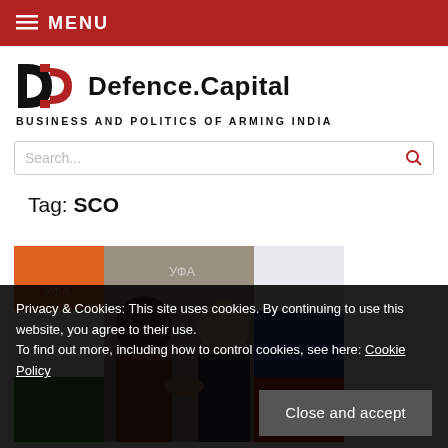≡ MENU
Defence.Capital — BUSINESS AND POLITICS OF ARMING INDIA
Search...
Tag: SCO
[Figure (photo): Two men shaking hands in front of Indian and Russian flags at UFA summit]
Privacy & Cookies: This site uses cookies. By continuing to use this website, you agree to their use.
To find out more, including how to control cookies, see here: Cookie Policy
Close and accept